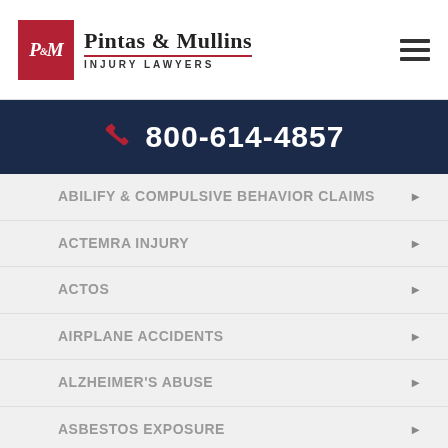[Figure (logo): Pintas & Mullins Injury Lawyers logo with red P&M emblem]
800-614-4857
ABILIFY & COMPULSIVE BEHAVIOR CLAIMS
ACTEMRA INJURY
ACTOS
AIRPLANE ACCIDENTS
ALZHEIMER'S ABUSE
ASBESTOS EXPOSURE
BEDSORES